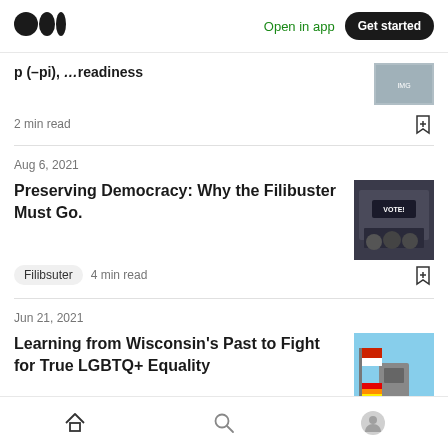Open in app | Get started
2 min read
Aug 6, 2021
Preserving Democracy: Why the Filibuster Must Go.
Filibuster  4 min read
Jun 21, 2021
Learning from Wisconsin's Past to Fight for True LGBTQ+ Equality